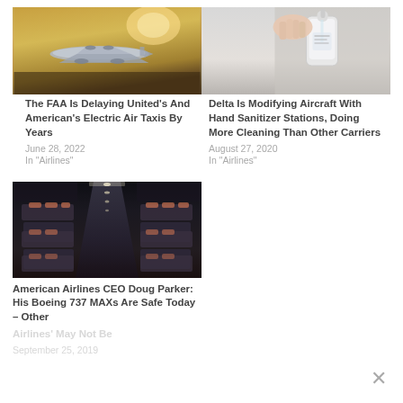[Figure (photo): Aerial or overhead view of aircraft with sandy/dusty background, golden haze]
The FAA Is Delaying United's And American's Electric Air Taxis By Years
June 28, 2022
In "Airlines"
[Figure (photo): Hand pressing pump of hand sanitizer dispenser on a wall]
Delta Is Modifying Aircraft With Hand Sanitizer Stations, Doing More Cleaning Than Other Carriers
August 27, 2020
In "Airlines"
[Figure (photo): Interior airplane cabin aisle view with seats on both sides, overhead lights]
American Airlines CEO Doug Parker: His Boeing 737 MAXs Are Safe Today – Other Airlines' May Not Be
September 25, 2019